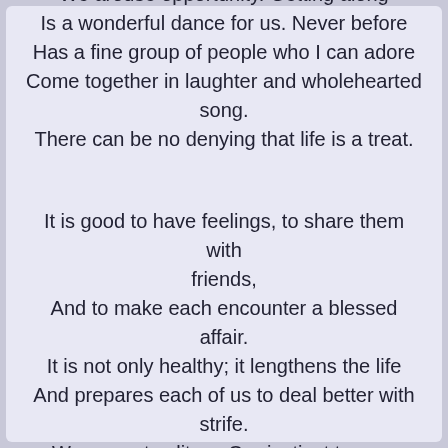Everyone is affectionate, warm, and upbeat. We arouse opportunity. Getting along Is a wonderful dance for us. Never before Has a fine group of people who I can adore Come together in laughter and wholehearted song. There can be no denying that life is a treat.

It is good to have feelings, to share them with friends, And to make each encounter a blessed affair. It is not only healthy; it lengthens the life And prepares each of us to deal better with strife. We are not solitary. Our instinct to care Is our key to survival. Our hate it transcends.